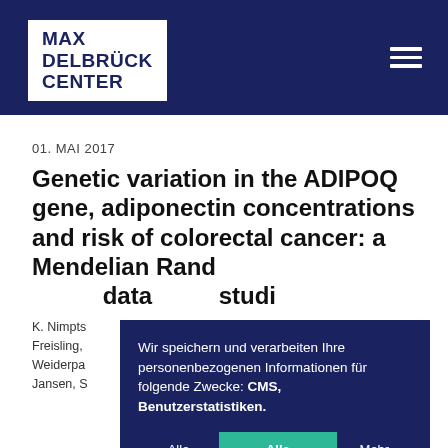[Figure (logo): Max Delbrück Center logo — white box with dark blue text on dark blue background header, with hamburger menu icon top right]
01. MAI 2017
Genetic variation in the ADIPOQ gene, adiponectin concentrations and risk of colorectal cancer: a Mendelian Rand… data … studi…
K. Nimpts… Freisling, Weiderpа… Jansen, S…
Wir speichern und verarbeiten Ihre personenbezogenen Informationen für folgende Zwecke: CMS, Benutzerstatistiken.
Alle ablehnen | Alle akzeptieren | Mehr erfahren...